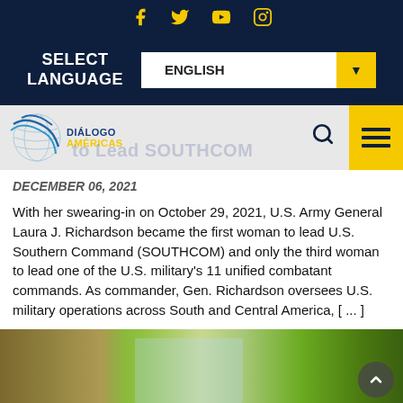Social icons: Facebook, Twitter, YouTube, Instagram
SELECT LANGUAGE | ENGLISH
[Figure (logo): Diálogo Américas logo with globe graphic, search icon, and hamburger menu button]
America to Lead SOUTHCOM
DECEMBER 06, 2021
With her swearing-in on October 29, 2021, U.S. Army General Laura J. Richardson became the first woman to lead U.S. Southern Command (SOUTHCOM) and only the third woman to lead one of the U.S. military's 11 unified combatant commands. As commander, Gen. Richardson oversees U.S. military operations across South and Central America, [ ... ]
[Figure (photo): Outdoor scene with trees and buildings, partially visible at bottom of page]